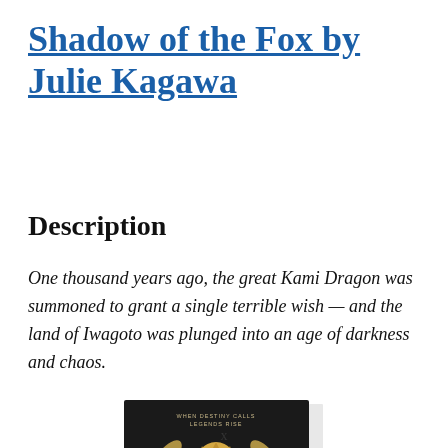Shadow of the Fox by Julie Kagawa
Description
One thousand years ago, the great Kami Dragon was summoned to grant a single terrible wish — and the land of Iwagoto was plunged into an age of darkness and chaos.
[Figure (photo): Book cover of Shadow of the Fox by Julie Kagawa, showing a dark background with a metallic fox/dragon mask design and the tagline WHEN DESTINY CALLS LEGENDS RISE]
x